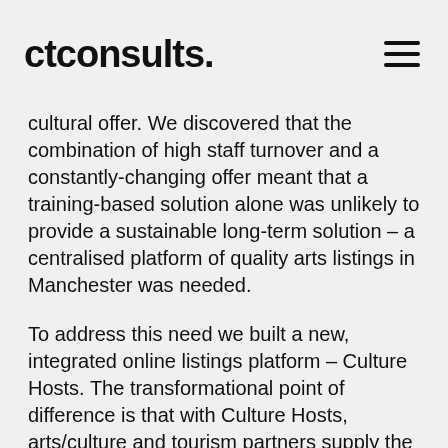ctconsults.
cultural offer. We discovered that the combination of high staff turnover and a constantly-changing offer meant that a training-based solution alone was unlikely to provide a sustainable long-term solution – a centralised platform of quality arts listings in Manchester was needed.
To address this need we built a new, integrated online listings platform – Culture Hosts. The transformational point of difference is that with Culture Hosts, arts/culture and tourism partners supply the data directly themselves – manually or automated – and the data can then be shared openly with multiple online channels